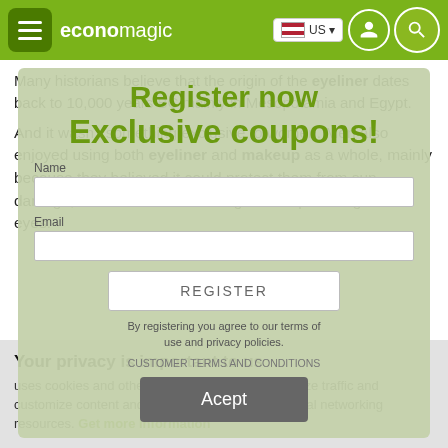economagic | US
Many historians believe that the origin of the eyeliner dates back to 10,000 years BC mainly in Mesopotamia and Egypt.
And it wasn't something exclusive to women. Men also enjoyed using both eyeliner and makeup as a whole, mainly because they believed it could protect them from sun damage, in addition to enhancing and empowering their eyes.
[Figure (screenshot): Register now / Exclusive coupons popup overlay with Name input, REGISTER button, and terms text. By registering you agree to our terms of use and privacy policies.]
Your privacy is important to us
uses cookies and other similar technology to analyze traffic and customize content and ads, as well as offering social networking resources. Get more information